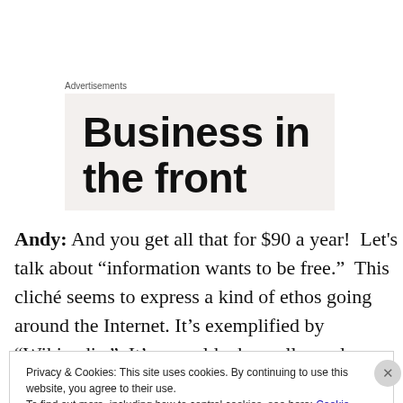Advertisements
[Figure (other): Advertisement banner with large bold text 'Business in the front' on a beige/grey background, partially cropped]
Andy: And you get all that for $90 a year!  Let's talk about “information wants to be free.”  This cliché seems to express a kind of ethos going around the Internet. It’s exemplified by “Wikipedia.”  It’s a world where all people
Privacy & Cookies: This site uses cookies. By continuing to use this website, you agree to their use.
To find out more, including how to control cookies, see here: Cookie Policy
Close and accept